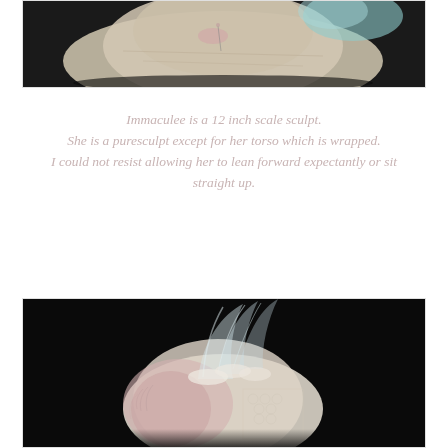[Figure (photo): Close-up photo of a doll sculpture against a dark background, showing textured fabric, pale colors with teal/blue and pink accents]
Immaculee is a 12 inch scale sculpt. She is a puresculpt except for her torso which is wrapped. I could not resist allowing her to lean forward expectantly or sit straight up.
[Figure (photo): Close-up photo on black background showing a doll's torso/back wrapped in white and pink lace and feathery fabric with intricate texture]